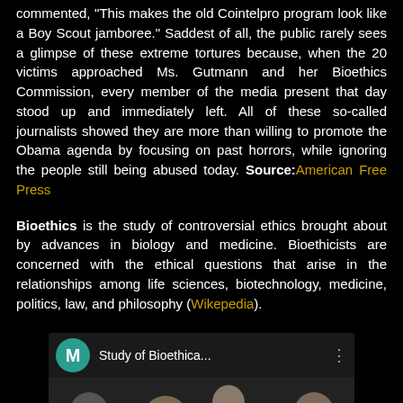commented, "This makes the old Cointelpro program look like a Boy Scout jamboree." Saddest of all, the public rarely sees a glimpse of these extreme tortures because, when the 20 victims approached Ms. Gutmann and her Bioethics Commission, every member of the media present that day stood up and immediately left. All of these so-called journalists showed they are more than willing to promote the Obama agenda by focusing on past horrors, while ignoring the people still being abused today. Source: American Free Press
Bioethics is the study of controversial ethics brought about by advances in biology and medicine. Bioethicists are concerned with the ethical questions that arise in the relationships among life sciences, biotechnology, medicine, politics, law, and philosophy (Wikepedia).
[Figure (screenshot): Video thumbnail for 'Study of Bioethica...' with channel icon M in teal, three-dot menu, and a still image of people at what appears to be a panel or commission meeting, with a red progress bar at the bottom.]